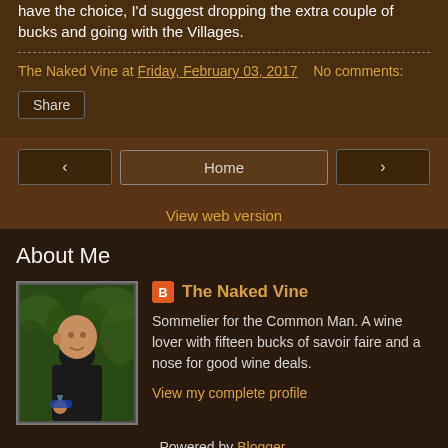have the choice, I'd suggest dropping the extra couple of bucks and going with the Villages.
The Naked Vine at Friday, February 03, 2017   No comments:
Share
< Home >
View web version
About Me
The Naked Vine
Sommelier for the Common Man. A wine lover with fifteen bucks of savoir faire and a nose for good wine deals.
View my complete profile
Powered by Blogger.